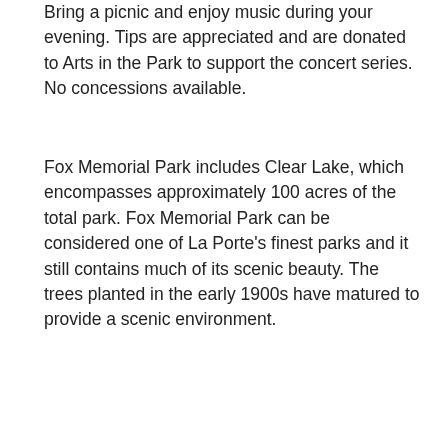Bring a picnic and enjoy music during your evening. Tips are appreciated and are donated to Arts in the Park to support the concert series. No concessions available.
Fox Memorial Park includes Clear Lake, which encompasses approximately 100 acres of the total park. Fox Memorial Park can be considered one of La Porte’s finest parks and it still contains much of its scenic beauty. The trees planted in the early 1900s have matured to provide a scenic environment.
. www.artsintheparklaporte.com.
[Figure (photo): Headshot photo of Sue Baxter, a woman with blonde hair and glasses, smiling.]
Sue Baxter
Susie Young Baxter, CEO, has published PanoramaNOW Magazine for 31 years. Her hobbies are Camping, Boating, Hiking, Nature, Gardening and Outdoor Activities. She is an Artist, Graphic Designer, an Avid Seamstress, Dabbles